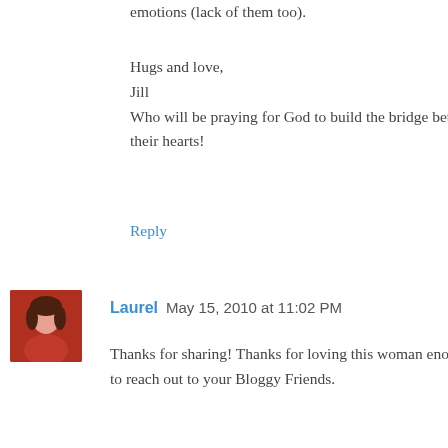emotions (lack of them too).
Hugs and love,
Jill
Who will be praying for God to build the bridge between their hearts!
Reply
Laurel  May 15, 2010 at 11:02 PM
Thanks for sharing! Thanks for loving this woman enough to reach out to your Bloggy Friends.
Some adoptive parents seem to have an immediate bond; while others don't. Some adoptive parents, it takes weeks or months to feel the same love as they have for their bio. children ... some it takes even longer.
After bringing our children home, I read several places that sometimes you just have to "fake it until you make it". That may be just what this mother needs to continue doing, while seeking the Lord for a truly unconditional love and